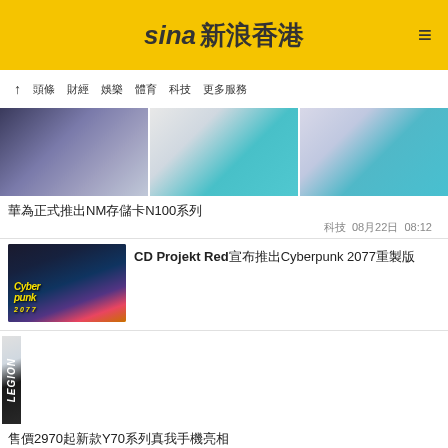sina 新浪香港
↑ 頭條 財經 娛樂 體育 科技 更多服務
[Figure (photo): Three photos of NM memory cards and related products]
華為正式推出NM存儲卡N100系列
科技 08月22日 08:12
[Figure (photo): Cyberpunk 2077 game artwork with character in futuristic city]
CD Projekt Red宣布推出Cyberpunk 2077重製版
[Figure (photo): Three photos showing smartphones including realme Y70 series]
售價2970起新款Y70系列真我手機亮相